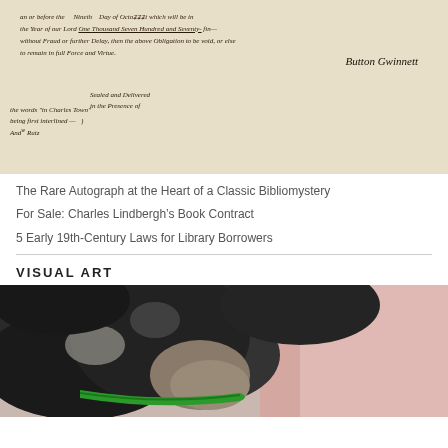[Figure (photo): Close-up photograph of an aged handwritten legal document on yellowed parchment paper, showing cursive script including text about 'the Year of our Lord One Thousand Seven Hundred and Seventy' and signatures including 'Button Gwinnett' and 'And Rutg'. A rust/brown spot is visible on the left side.]
The Rare Autograph at the Heart of a Classic Bibliomystery
For Sale: Charles Lindbergh’s Book Contract
5 Early 19th-Century Laws for Library Borrowers
VISUAL ART
[Figure (photo): Close-up watercolor or painting of a dog's head, predominantly dark grey and black tones with a green collar visible, against a soft pink and light background.]